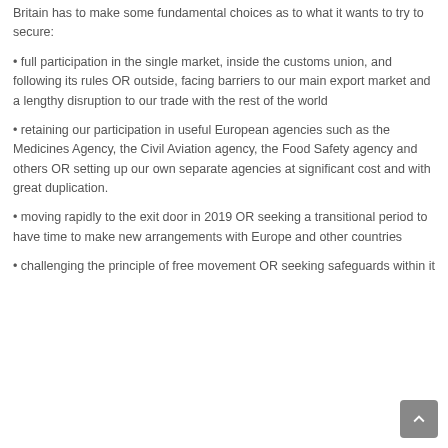Britain has to make some fundamental choices as to what it wants to try to secure:
full participation in the single market, inside the customs union, and following its rules OR outside, facing barriers to our main export market and a lengthy disruption to our trade with the rest of the world
retaining our participation in useful European agencies such as the Medicines Agency, the Civil Aviation agency, the Food Safety agency and others OR setting up our own separate agencies at significant cost and with great duplication.
moving rapidly to the exit door in 2019 OR seeking a transitional period to have time to make new arrangements with Europe and other countries
challenging the principle of free movement OR seeking safeguards within it